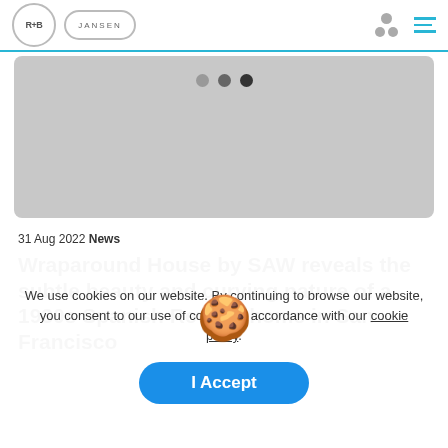R+B | JANSEN [navigation bar with logo and menu]
[Figure (photo): Gray placeholder image area with three navigation dots (light gray, medium gray, dark) indicating an image carousel/slider]
31 Aug 2022 News
Wraparound House by SAW reveals the subtle beauty and curving nature of a 1930s Spanish Revival home in San Francisco
We use cookies on our website. By continuing to browse our website, you consent to our use of cookies in accordance with our cookie policy.
I Accept